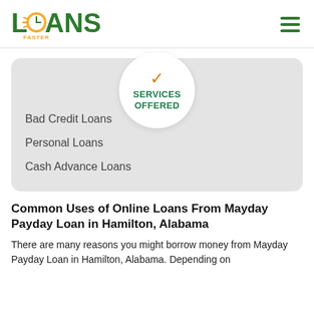[Figure (logo): Loans Faster logo — green text with clock icon]
[Figure (infographic): Services Offered badge circle with orange checkmark and teal text, on grey rounded card]
Bad Credit Loans
Personal Loans
Cash Advance Loans
Common Uses of Online Loans From Mayday Payday Loan in Hamilton, Alabama
There are many reasons you might borrow money from Mayday Payday Loan in Hamilton, Alabama. Depending on